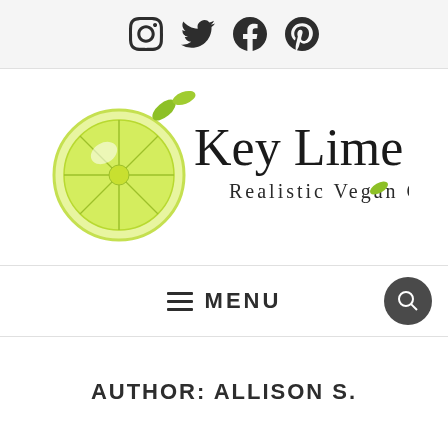Social media icons: Instagram, Twitter, Facebook, Pinterest
[Figure (logo): Key Lime Coconut logo with a watercolor lime slice illustration and handwritten text 'Key Lime Coconut' with subtitle 'Realistic Vegan Cooking']
MENU (navigation bar with search button)
AUTHOR: ALLISON S.